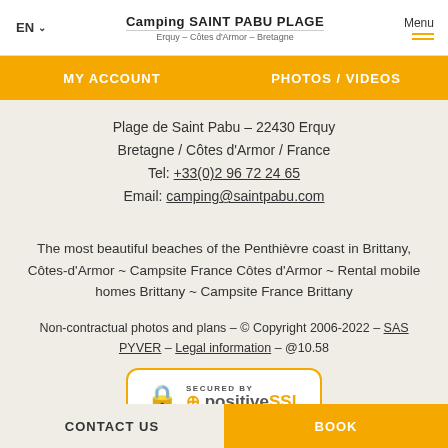EN ∨  Camping SAINT PABU PLAGE  Erquy – Côtes d'Armor – Bretagne  Menu
MY ACCOUNT   PHOTOS / VIDEOS
Plage de Saint Pabu - 22430 Erquy
Bretagne / Côtes d'Armor / France
Tel: +33(0)2 96 72 24 65
Email: camping@saintpabu.com
The most beautiful beaches of the Penthièvre coast in Brittany, Côtes-d'Armor ~ Campsite France Côtes d'Armor ~ Rental mobile homes Brittany ~ Campsite France Brittany
Non-contractual photos and plans - © Copyright 2006-2022 - SAS PYVER - Legal information - @10.58
[Figure (logo): Secured by positiveSSL badge with padlock icon, yellow border, white background]
[Figure (logo): W3C HTML validation badge, partially visible]
CONTACT US   BOOK